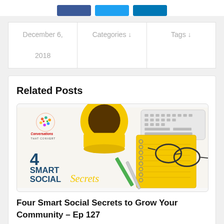[Figure (other): Social share buttons: Facebook (blue), Twitter (light blue), LinkedIn (dark blue)]
| Date | Categories | Tags |
| --- | --- | --- |
| December 6, 2018 | Categories ↓ | Tags ↓ |
Related Posts
[Figure (photo): Blog post thumbnail showing a yellow coffee cup, keyboard, yellow notepad, glasses, pens, with text '4 SMART SOCIAL Secrets' and a colorful brain logo 'Conversations That Convert']
Four Smart Social Secrets to Grow Your Community – Ep 127